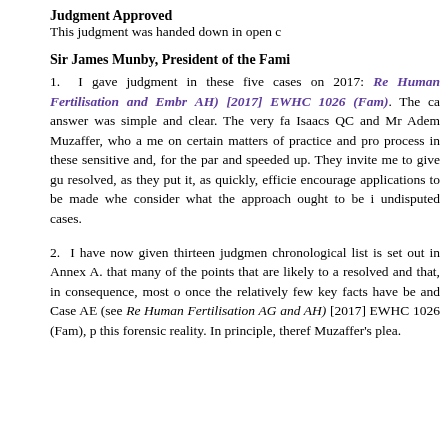Judgment Approved
This judgment was handed down in open c
Sir James Munby, President of the Fami
1. I gave judgment in these five cases on 2017: Re Human Fertilisation and Embry AH) [2017] EWHC 1026 (Fam). The ca answer was simple and clear. The very fa Isaacs QC and Mr Adem Muzaffer, who a me on certain matters of practice and pro process in these sensitive and, for the par and speeded up. They invite me to give gu resolved, as they put it, as quickly, efficie encourage applications to be made whe consider what the approach ought to be i undisputed cases.
2. I have now given thirteen judgmen chronological list is set out in Annex A. that many of the points that are likely to a resolved and that, in consequence, most o once the relatively few key facts have be and Case AE (see Re Human Fertilisation AG and AH) [2017] EWHC 1026 (Fam), p this forensic reality. In principle, there Muzaffer's plea.